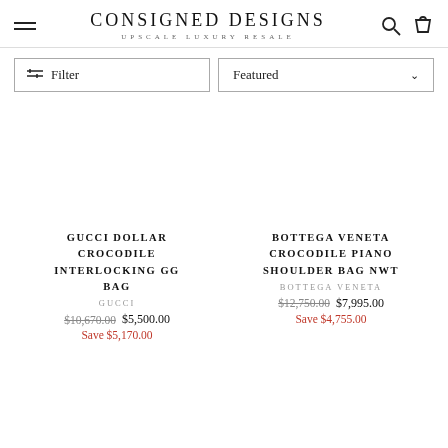CONSIGNED DESIGNS — UPSCALE LUXURY RESALE
Filter | Featured
GUCCI DOLLAR CROCODILE INTERLOCKING GG BAG
GUCCI
$10,670.00  $5,500.00
Save $5,170.00
BOTTEGA VENETA CROCODILE PIANO SHOULDER BAG NWT
BOTTEGA VENETA
$12,750.00  $7,995.00
Save $4,755.00